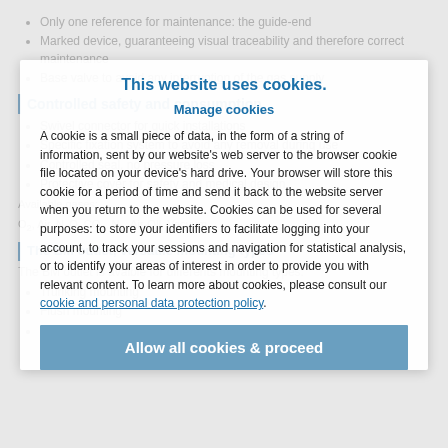Only one reference for maintenance: the guide-end
Marked device, guaranteeing visual traceability and therefore correct maintenance
Base valve to avoid any interruption of the gas supply
Controlled safety and consumption.
Swivel connector for quick installation
Specific fixation system to avoid any removal during use
Controlled seal, no pressure loss
Protective cover for safety and medical design
Available gases:
O2, Air, N2O, CO2, N2, Air-OIl, Vacuum
The BM outlet, versatile mounting types
The BM outlet is avaible for differents mounting types:
Trunking mounting
Flush mounting
Surface mounting
This website uses cookies. Manage cookies. A cookie is a small piece of data, in the form of a string of information, sent by our website's web server to the browser cookie file located on your device's hard drive. Your browser will store this cookie for a period of time and send it back to the website server when you return to the website. Cookies can be used for several purposes: to store your identifiers to facilitate logging into your account, to track your sessions and navigation for statistical analysis, or to identify your areas of interest in order to provide you with relevant content. To learn more about cookies, please consult our cookie and personal data protection policy.
Allow all cookies & proceed